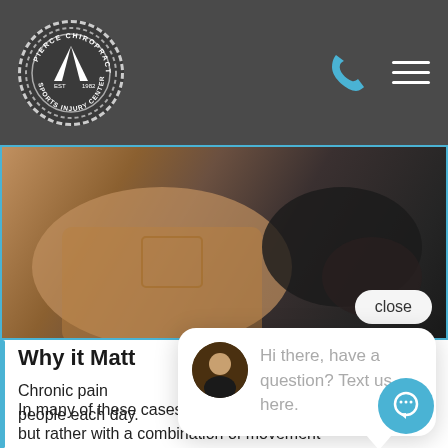[Figure (logo): Pierce Chiropractic Sports Injury Center circular logo with mountain/chevron symbol, EST 1982, on dark grey header background]
[Figure (photo): Close-up photo of a chiropractor's hands working on a patient's back, patient wearing tan jacket]
Why it Matt
Chronic pain people each day.
In many of these cases, the answer isn't found i but rather with a combination of movement-
[Figure (screenshot): Chat widget popup with avatar and text: Hi there, have a question? Text us here.]